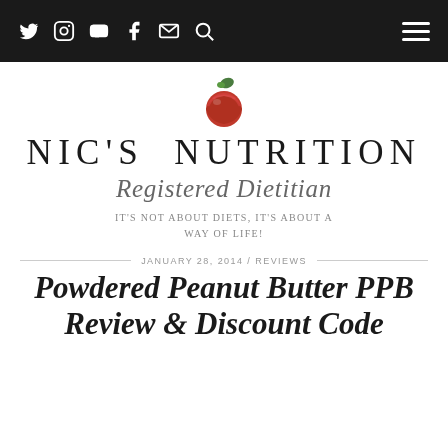Navigation bar with social icons: Twitter, Instagram, YouTube, Facebook, Email, Search; and a hamburger menu
[Figure (logo): Red apple with green leaf logo for Nic's Nutrition]
NIC'S NUTRITION
Registered Dietitian
IT'S NOT ABOUT DIETS, IT'S ABOUT A WAY OF LIFE!
JANUARY 28, 2014 / REVIEWS
Powdered Peanut Butter PPB Review & Discount Code